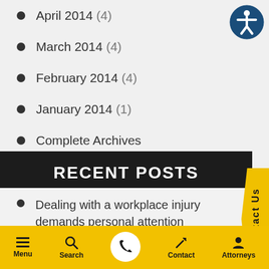April 2014 (4)
March 2014 (4)
February 2014 (4)
January 2014 (1)
Complete Archives
RECENT POSTS
Dealing with a workplace injury demands personal attention
Determining liability in a
Menu  Search  Contact  Attorneys